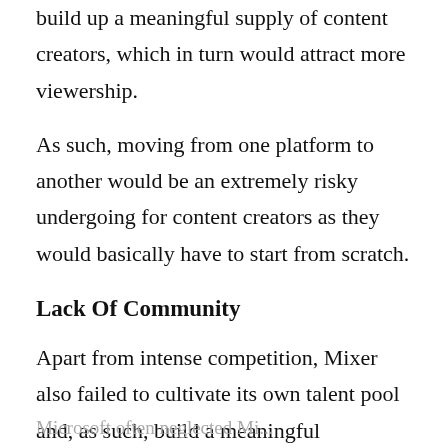build up a meaningful supply of content creators, which in turn would attract more viewership.
As such, moving from one platform to another would be an extremely risky undergoing for content creators as they would basically have to start from scratch.
Lack Of Community
Apart from intense competition, Mixer also failed to cultivate its own talent pool and, as such, build a meaningful community on top of its platform.
Microsoft often neglected Mi...